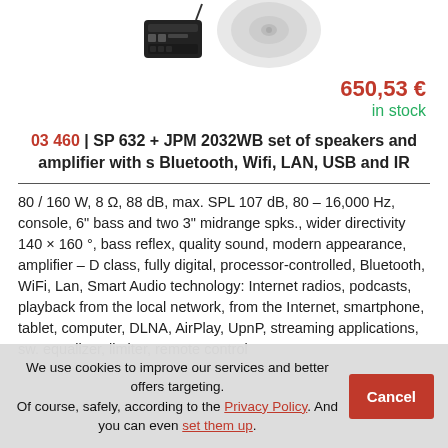[Figure (photo): Product photo showing a black amplifier/receiver unit and a white ceiling speaker]
650,53 €
in stock
03 460 | SP 632 + JPM 2032WB set of speakers and amplifier with s Bluetooth, Wifi, LAN, USB and IR
80 / 160 W, 8 Ω, 88 dB, max. SPL 107 dB, 80 – 16,000 Hz, console, 6" bass and two 3" midrange spks., wider directivity 140 × 160 °, bass reflex, quality sound, modern appearance, amplifier – D class, fully digital, processor-controlled, Bluetooth, WiFi, Lan, Smart Audio technology: Internet radios, podcasts, playback from the local network, from the Internet, smartphone, tablet, computer, DLNA, AirPlay, UpnP, streaming applications, sw. equalizer, limiter, remote control
We use cookies to improve our services and better offers targeting. Of course, safely, according to the Privacy Policy. And you can even set them up.